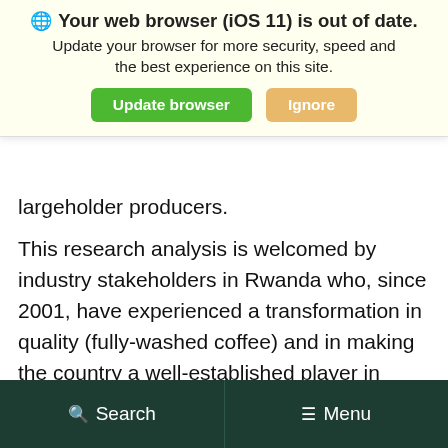percent benefits, and smallholder farmworkers. However, the country has resulted in the neglect and disinvestment in coffee by largeholder producers.
[Figure (screenshot): Browser update banner overlay: 'Your web browser (iOS 11) is out of date. Update your browser for more security, speed and the best experience on this site.' with green 'Update browser' button and tan 'Ignore' button.]
This research analysis is welcomed by industry stakeholders in Rwanda who, since 2001, have experienced a transformation in quality (fully-washed coffee) and in making the country a well-established player in specialty coffee markets around the globe. The study shows that the value-added from this transformation has been beneficial to Rwanda, yet the coffee producers have shared the least in the new
Search   Menu